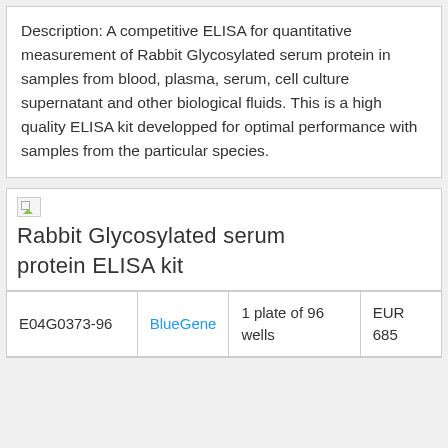Description: A competitive ELISA for quantitative measurement of Rabbit Glycosylated serum protein in samples from blood, plasma, serum, cell culture supernatant and other biological fluids. This is a high quality ELISA kit developped for optimal performance with samples from the particular species.
Rabbit Glycosylated serum protein ELISA kit
| E04G0373-96 | BlueGene | 1 plate of 96 wells | EUR 685 |